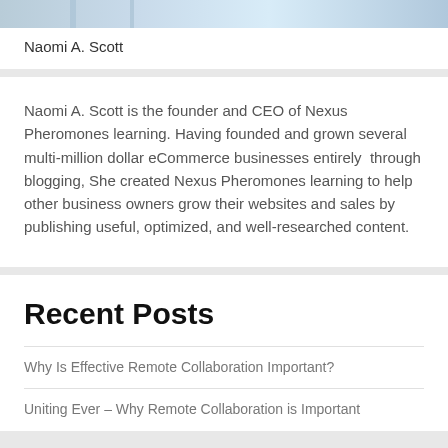[Figure (photo): Partial view of a person in a light blue/white outfit, cropped image strip at top of card]
Naomi A. Scott
Naomi A. Scott is the founder and CEO of Nexus Pheromones learning. Having founded and grown several multi-million dollar eCommerce businesses entirely  through blogging, She created Nexus Pheromones learning to help other business owners grow their websites and sales by publishing useful, optimized, and well-researched content.
Recent Posts
Why Is Effective Remote Collaboration Important?
Uniting Ever – Why Remote Collaboration is Important